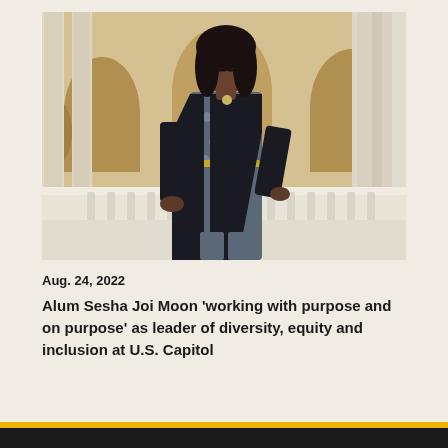[Figure (photo): Woman standing in front of U.S. Capitol building columns, wearing a black blazer over a blue patterned dress with a gold belt, hands on hips, wearing glasses]
Aug. 24, 2022
Alum Sesha Joi Moon ‘working with purpose and on purpose’ as leader of diversity, equity and inclusion at U.S. Capitol